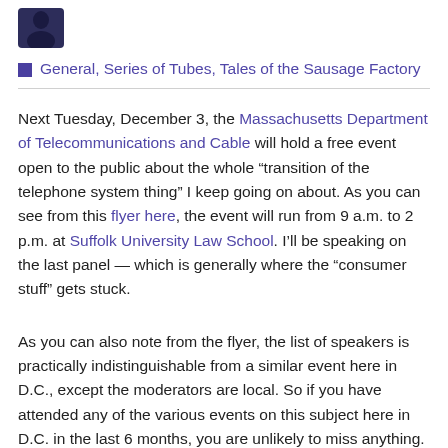[Figure (illustration): Small dark avatar/silhouette icon of a person in upper left corner]
General, Series of Tubes, Tales of the Sausage Factory
Next Tuesday, December 3, the Massachusetts Department of Telecommunications and Cable will hold a free event open to the public about the whole “transition of the telephone system thing” I keep going on about. As you can see from this flyer here, the event will run from 9 a.m. to 2 p.m. at Suffolk University Law School. I’ll be speaking on the last panel — which is generally where the “consumer stuff” gets stuck.
As you can also note from the flyer, the list of speakers is practically indistinguishable from a similar event here in D.C., except the moderators are local. So if you have attended any of the various events on this subject here in D.C. in the last 6 months, you are unlikely to miss anything. On the flip side, if you